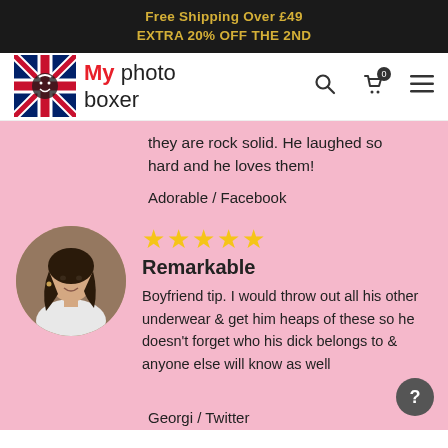Free Shipping Over £49
EXTRA 20% OFF THE 2ND
[Figure (logo): My Photo Boxer logo with UK flag icon and brand name]
they are rock solid. He laughed so hard and he loves them!
Adorable / Facebook
[Figure (photo): Circular avatar photo of a woman with long dark hair]
★★★★★
Remarkable
Boyfriend tip. I would throw out all his other underwear & get him heaps of these so he doesn't forget who his dick belongs to & anyone else will know as well
Georgi / Twitter